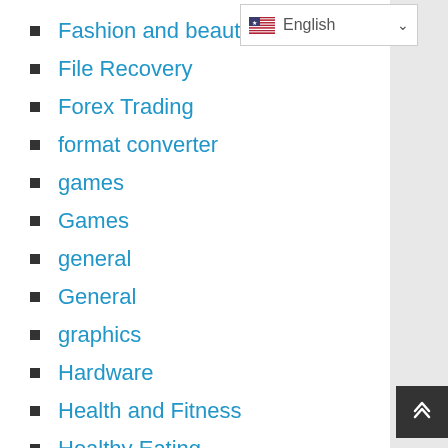Fashion and beauty
File Recovery
Forex Trading
format converter
games
Games
general
General
graphics
Hardware
Health and Fitness
Healthy Eating
herbs
herbs
Instagram